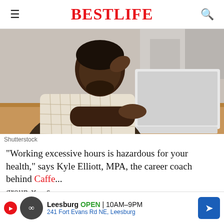BESTLIFE
[Figure (photo): Black man in a checkered shirt sitting at a desk looking stressed at a laptop computer]
Shutterstock
"Working excessive hours is hazardous for your health," says Kyle Elliott, MPA, the career coach behind Caffe... group x ...s.
[Figure (other): Advertisement banner: Leesburg OPEN 10AM-9PM, 241 Fort Evans Rd NE, Leesburg with navigation arrow]